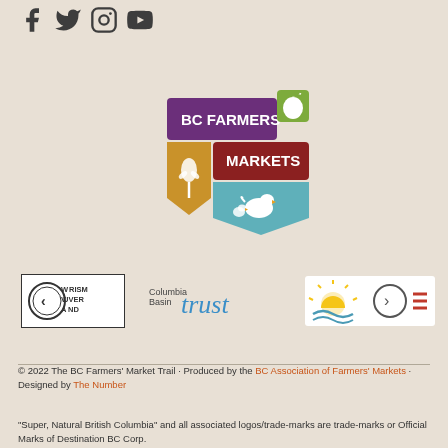[Figure (logo): Social media icons: Facebook, Twitter, Instagram, YouTube]
[Figure (logo): BC Farmers' Markets shield logo with purple, dark red, gold, and teal sections]
[Figure (logo): Tourism Vancouver Island logo in a bordered box]
[Figure (logo): Columbia Basin Trust logo]
[Figure (logo): Destination BC / Super Natural British Columbia logo]
© 2022 The BC Farmers' Market Trail · Produced by the BC Association of Farmers' Markets · Designed by The Number

"Super, Natural British Columbia" and all associated logos/trade-marks are trade-marks or Official Marks of Destination BC Corp.